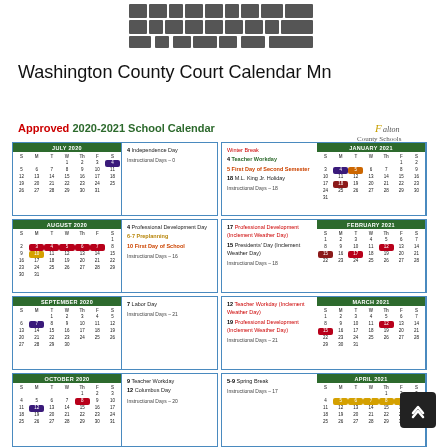[Figure (logo): Nebraska state logo/emblem graphic in dark gray pixelated style]
Washington County Court Calendar Mn
Approved 2020-2021 School Calendar
[Figure (infographic): Approved 2020-2021 School Calendar showing monthly mini-calendars for July 2020 through April 2021 and partial November 2020 and May 2021, with notes on holidays, instructional days, and special events for Falton County Schools]
[Figure (logo): Falton County Schools logo - Where Students Come First]